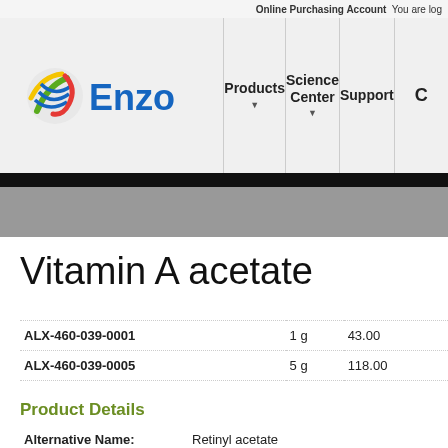Online Purchasing Account  You are log
[Figure (logo): Enzo Life Sciences logo with colorful DNA helix icon and blue 'Enzo' text]
Products  Science Center  Support  C
Vitamin A acetate
| Product Code | Size | Price |
| --- | --- | --- |
| ALX-460-039-0001 | 1 g | 43.00 |
| ALX-460-039-0005 | 5 g | 118.00 |
Product Details
| Field | Value |
| --- | --- |
| Alternative Name: | Retinyl acetate |
| Formula: | C22H32O2 |